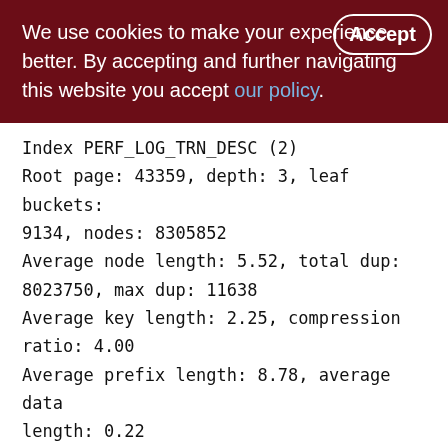We use cookies to make your experience better. By accepting and further navigating this website you accept our policy.
Index PERF_LOG_TRN_DESC (2)
Root page: 43359, depth: 3, leaf buckets: 9134, nodes: 8305852
Average node length: 5.52, total dup: 8023750, max dup: 11638
Average key length: 2.25, compression ratio: 4.00
Average prefix length: 8.78, average data length: 0.22
Clustering factor: 4165230, ratio: 0.50
Fill distribution:
0 - 19% = 11